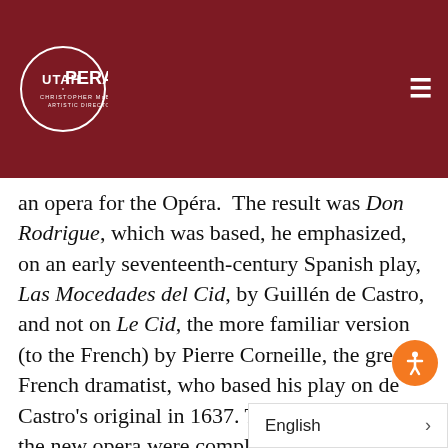Utah Opera — Christopher McBeth, Artistic Director
an opera for the Opéra.  The result was Don Rodrigue, which was based, he emphasized, on an early seventeenth-century Spanish play, Las Mocedades del Cid, by Guillén de Castro, and not on Le Cid, the more familiar version (to the French) by Pierre Corneille, the great French dramatist, who based his play on de Castro's original in 1637. The vocal lines of the new opera were complete enough in early October 1873 for Bizet to sing (badly) through the score to Faure and others associated with the Opéra.  But his dream of a production there went up in smoke when the theatre did on October 28. Had the title role been written for a baritone, Faure might have pushed the re-b management to commission the completed